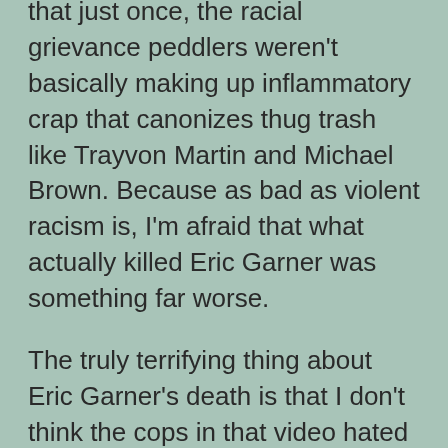that just once, the racial grievance peddlers weren't basically making up inflammatory crap that canonizes thug trash like Trayvon Martin and Michael Brown. Because as bad as violent racism is, I'm afraid that what actually killed Eric Garner was something far worse.
The truly terrifying thing about Eric Garner's death is that I don't think the cops in that video hated anybody. They were just doing their job. And their job included strangling a man to death for having sold “losies” – untaxed cigarettes. Something he wasn't doing when he was killed; he had just broken up a fight that